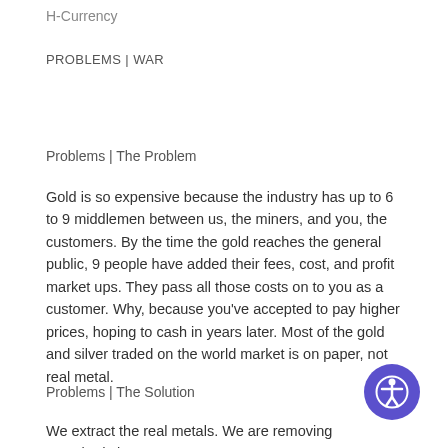H-Currency
PROBLEMS | WAR
Problems | The Problem
Gold is so expensive because the industry has up to 6 to 9 middlemen between us, the miners, and you, the customers. By the time the gold reaches the general public, 9 people have added their fees, cost, and profit market ups. They pass all those costs on to you as a customer. Why, because you've accepted to pay higher prices, hoping to cash in years later. Most of the gold and silver traded on the world market is on paper, not real metal.
Problems | The Solution
We extract the real metals. We are removing everybody between us,